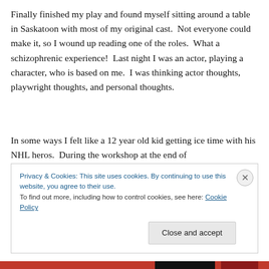Finally finished my play and found myself sitting around a table in Saskatoon with most of my original cast.  Not everyone could make it, so I wound up reading one of the roles.  What a schizophrenic experience!  Last night I was an actor, playing a character, who is based on me.  I was thinking actor thoughts, playwright thoughts, and personal thoughts.
In some ways I felt like a 12 year old kid getting ice time with his NHL heros.  During the workshop at the end of
Privacy & Cookies: This site uses cookies. By continuing to use this website, you agree to their use.
To find out more, including how to control cookies, see here: Cookie Policy